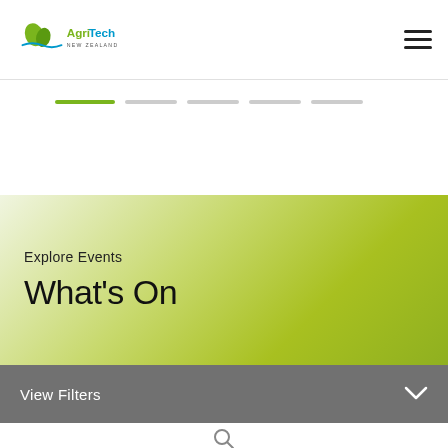[Figure (logo): AgriTech New Zealand logo with green leaf/plant graphic and blue wavy line]
[Figure (other): Hamburger menu icon (three horizontal bars)]
[Figure (other): Horizontal slider navigation dots — one green active dot and four grey inactive dots]
Explore Events
What’s On
View Filters